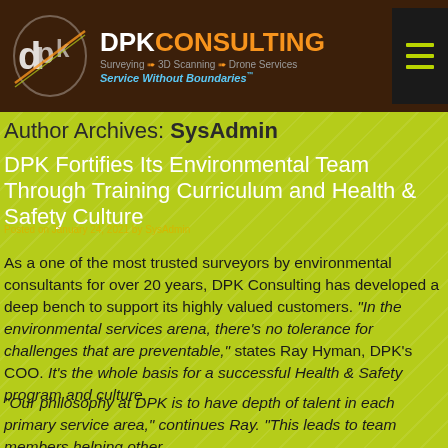DPK CONSULTING — Surveying → 3D Scanning → Drone Services — Service Without Boundaries™
Author Archives: SysAdmin
DPK Fortifies Its Environmental Team Through Training Curriculum and Health & Safety Culture
Posted on January 24, 2021 by SysAdmin
As a one of the most trusted surveyors by environmental consultants for over 20 years, DPK Consulting has developed a deep bench to support its highly valued customers. "In the environmental services arena, there's no tolerance for challenges that are preventable," states Ray Hyman, DPK's COO. It's the whole basis for a successful Health & Safety program and culture.
"Our philosophy at DPK is to have depth of talent in each primary service area," continues Ray. "This leads to team members helping other